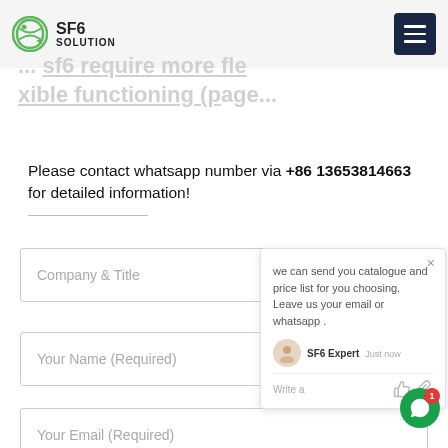SF6 SOLUTION
Please contact whatsapp number via +86 13653814663 for detailed information!
Company & Title
Your Name (Required)
Your Email (Required)
we can send you catalogue and price list for you choosing. Leave us your email or whatsapp .
SF6 Expert  just now
Write a